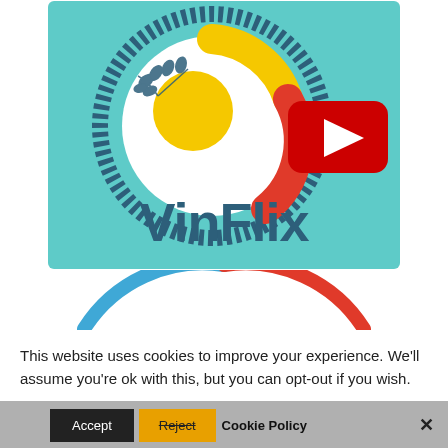[Figure (logo): VinFlix logo on teal background with circular decorative element (laurel wreath, concentric colored arcs in yellow, orange/red), YouTube play button icon, and 'VinFlix' text in dark teal]
[Figure (infographic): Partial gauge/speedometer graphic with blue arc on left and red arc on right, cropped at bottom of visible area]
This website uses cookies to improve your experience. We'll assume you're ok with this, but you can opt-out if you wish.
Accept  Reject  Cookie Policy  Share This  ×